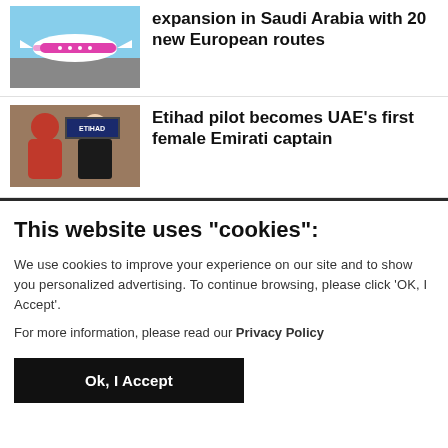[Figure (photo): Pink/magenta Wizz Air aircraft on tarmac]
expansion in Saudi Arabia with 20 new European routes
[Figure (photo): Two women, one in hijab and one in pilot uniform with Etihad branding in background]
Etihad pilot becomes UAE’s first female Emirati captain
This website uses "cookies":
We use cookies to improve your experience on our site and to show you personalized advertising. To continue browsing, please click ‘OK, I Accept’.
For more information, please read our Privacy Policy
Ok, I Accept